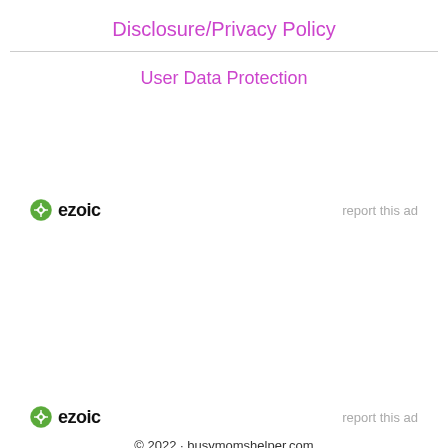Disclosure/Privacy Policy
User Data Protection
[Figure (logo): Ezoic logo with green circular icon and bold 'ezoic' text, with 'report this ad' link on the right]
[Figure (logo): Ezoic logo with green circular icon and bold 'ezoic' text, with 'report this ad' link on the right]
© 2022 · busymomshelper.com